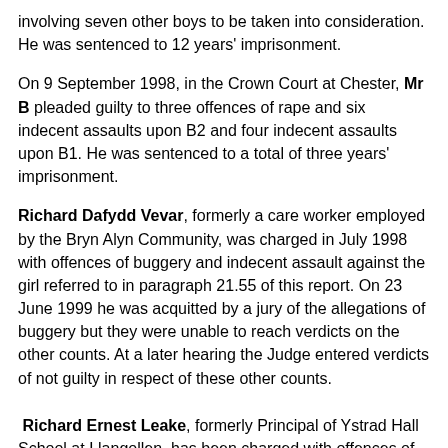involving seven other boys to be taken into consideration. He was sentenced to 12 years' imprisonment.
On 9 September 1998, in the Crown Court at Chester, Mr B pleaded guilty to three offences of rape and six indecent assaults upon B2 and four indecent assaults upon B1. He was sentenced to a total of three years' imprisonment.
Richard Dafydd Vevar, formerly a care worker employed by the Bryn Alyn Community, was charged in July 1998 with offences of buggery and indecent assault against the girl referred to in paragraph 21.55 of this report. On 23 June 1999 he was acquitted by a jury of the allegations of buggery but they were unable to reach verdicts on the other counts. At a later hearing the Judge entered verdicts of not guilty in respect of these other counts.
Richard Ernest Leake, formerly Principal of Ystrad Hall School at Llangollen, has been charged with offences of indecent assaults on boys alleged to have been committed between 1972 and 1978. He denies all the charges and his